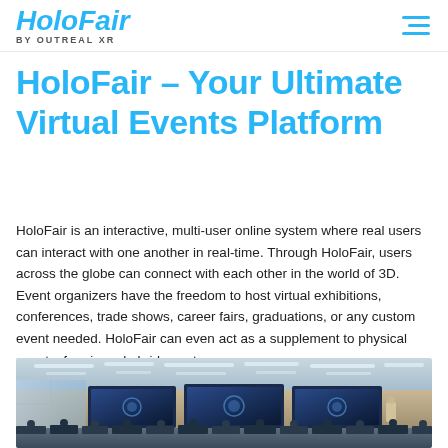HoloFair by OUTREAL XR
HoloFair – Your Ultimate Virtual Events Platform
HoloFair is an interactive, multi-user online system where real users can interact with one another in real-time. Through HoloFair, users across the globe can connect with each other in the world of 3D. Event organizers have the freedom to host virtual exhibitions, conferences, trade shows, career fairs, graduations, or any custom event needed. HoloFair can even act as a supplement to physical events, forming a hybrid event.
[Figure (photo): Virtual conference room interior with ceiling lights, front display screens showing HoloFair logo, rows of blue seats, and attendees/figures visible in the space]